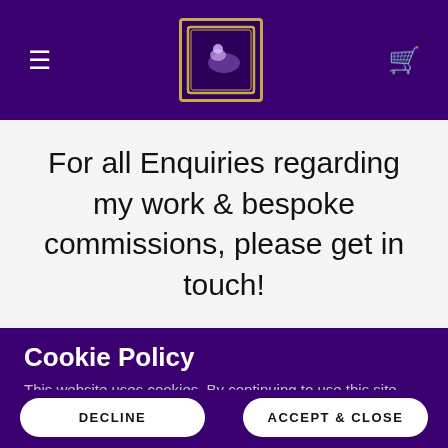Navigation header with hamburger menu, logo badge, and cart icon
For all Enquiries regarding my work & bespoke commissions, please get in touch!
Cookie Policy
This website uses cookies. By continuing to use this site, you accept our use of cookies.
DECLINE | ACCEPT & CLOSE